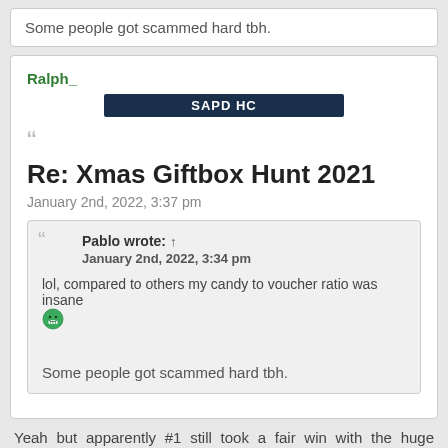Some people got scammed hard tbh.
Ralph_
SAPD HC
Re: Xmas Giftbox Hunt 2021
January 2nd, 2022, 3:37 pm
Pablo wrote: ↑
January 2nd, 2022, 3:34 pm

lol, compared to others my candy to voucher ratio was insane
[emoji]
Some people got scammed hard tbh.
Yeah but apparently #1 still took a fair win with the huge amount of candies farmed.